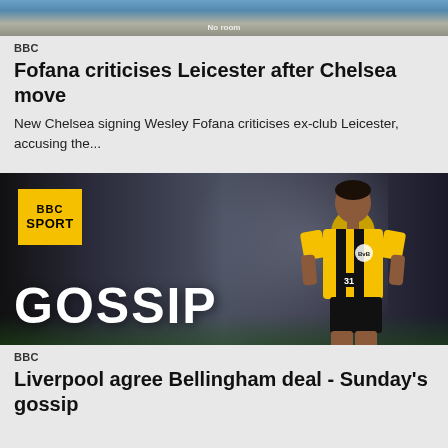[Figure (photo): Top of a cropped image showing a football player in blue jersey with 'No room' text visible]
BBC
Fofana criticises Leicester after Chelsea move
New Chelsea signing Wesley Fofana criticises ex-club Leicester, accusing the...
[Figure (photo): BBC Sport Gossip branded image showing a player in Borussia Dortmund yellow and black striped jersey with 'GOSSIP' text overlay and BBC Sport badge]
BBC
Liverpool agree Bellingham deal - Sunday's gossip